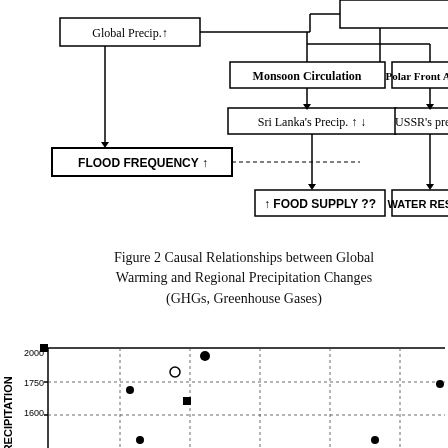[Figure (flowchart): Flowchart showing causal relationships between Global Warming and Regional Precipitation Changes. Nodes include: Global Precip. up arrow, Monsoon Circulation, Polar Front Activity (partially visible), Sri Lanka's Precip. up/down arrows, USSR's precip (partially visible), FLOOD FREQUENCY up arrow, FOOD SUPPLY ??, WATER RESOURCES (partially visible). Arrows connect the nodes showing causal flow.]
Figure 2 Causal Relationships between Global Warming and Regional Precipitation Changes (GHGs, Greenhouse Gases)
[Figure (scatter-plot): Partial scatter plot visible at bottom of page. Y-axis labeled PRECIPITATION with values 1600, 1750 (approx), 2000 visible. Data points shown as filled circles, open circles, and filled squares at various positions. The chart is cut off at the bottom of the page.]